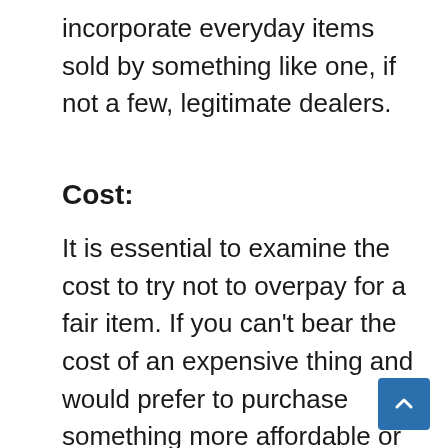incorporate everyday items sold by something like one, if not a few, legitimate dealers.
Cost:
It is essential to examine the cost to try not to overpay for a fair item. If you can't bear the cost of an expensive thing and would prefer to purchase something more affordable or hang tight for a deal, remember that quality can infrequently offset the cost. Customers should